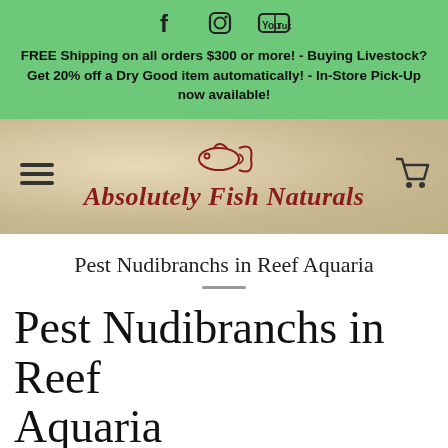[Figure (other): Social media icons: Facebook, Instagram, YouTube]
FREE Shipping on all orders $300 or more! - Buying Livestock? Get 20% off a Dry Good item automatically! - In-Store Pick-Up now available!
[Figure (logo): Absolutely Fish Naturals logo with fish icon and handwritten-style text]
Pest Nudibranchs in Reef Aquaria
Pest Nudibranchs in Reef Aquaria